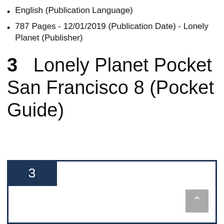English (Publication Language)
787 Pages - 12/01/2019 (Publication Date) - Lonely Planet (Publisher)
3   Lonely Planet Pocket San Francisco 8 (Pocket Guide)
[Figure (other): Ranked item card with number 3 badge and book cover image of Lonely Planet Pocket San Francisco showing city skyscrapers and blue sky, with overlay text: lonely planet, POCKET, SAN FRANCISCO, TOP EXPERIENCES · LOCAL LIFE]